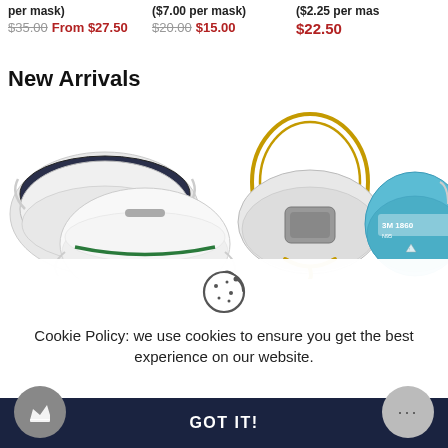per mask) ($7.00 per mask) ($2.25 per mask)
$35.00 From $27.50 | $20.00 $15.00 | $22.50
New Arrivals
[Figure (photo): Three N95/KN95 respirator masks: two white masks stacked on left, one with navy top and one with green strip; center mask is white with yellow headband and grey filter; right mask is blue 3M N95 mask.]
Cookie Policy: we use cookies to ensure you get the best experience on our website.
GOT IT!